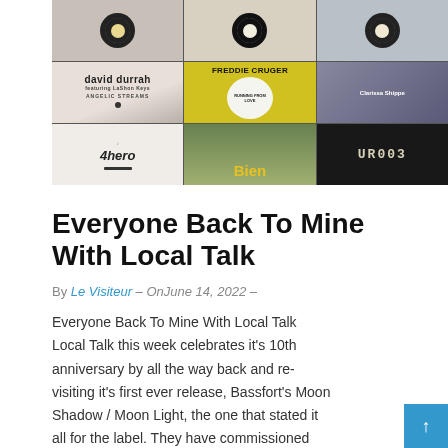[Figure (photo): A 3x3 collage of vinyl record covers including David Durrah featuring Angelic Streams, Freddie Cruger Running From Love, Clarissa Shippe, 4hero, Bien, and UR003]
Everyone Back To Mine With Local Talk
By Le Visiteur – On June 14, 2022 –
Everyone Back To Mine With Local Talk Local Talk this week celebrates it's 10th anniversary by all the way back and re-visiting it's first ever release, Bassfort's Moon Shadow / Moon Light, the one that stated it all for the label. They have commissioned two fabulous new mixes from scene...